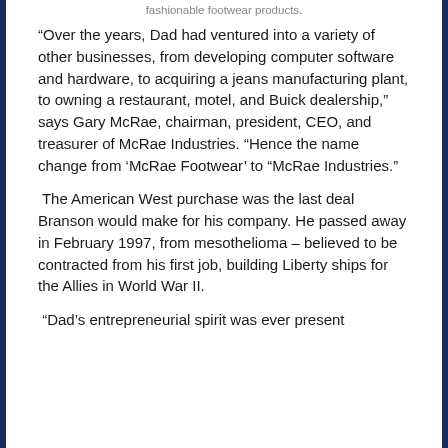fashionable footwear products.
“Over the years, Dad had ventured into a variety of other businesses, from developing computer software and hardware, to acquiring a jeans manufacturing plant, to owning a restaurant, motel, and Buick dealership,” says Gary McRae, chairman, president, CEO, and treasurer of McRae Industries. “Hence the name change from ‘McRae Footwear’ to “McRae Industries.”
The American West purchase was the last deal Branson would make for his company. He passed away in February 1997, from mesothelioma – believed to be contracted from his first job, building Liberty ships for the Allies in World War II.
“Dad’s entrepreneurial spirit was ever present